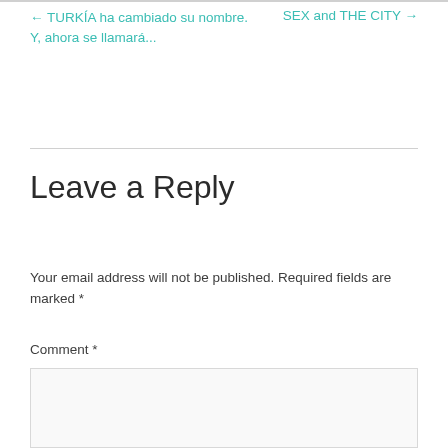← TURKÍA ha cambiado su nombre. Y, ahora se llamará...
SEX and THE CITY →
Leave a Reply
Your email address will not be published. Required fields are marked *
Comment *